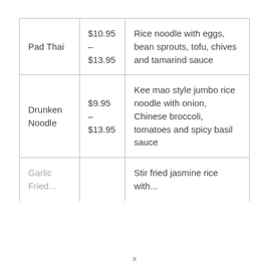| Pad Thai | $10.95 – $13.95 | Rice noodle with eggs, bean sprouts, tofu, chives and tamarind sauce |
| Drunken Noodle | $9.95 – $13.95 | Kee mao style jumbo rice noodle with onion, Chinese broccoli, tomatoes and spicy basil sauce |
| Garlic Fried ... | ... | Stir fried jasmine rice with ... |
x